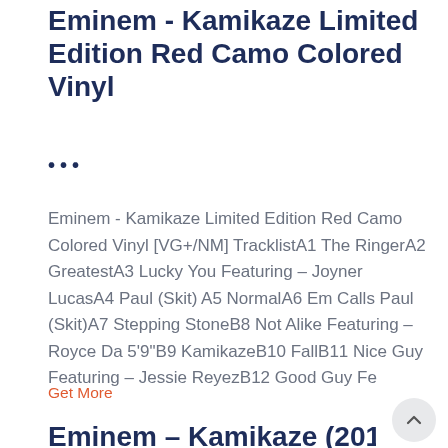Eminem - Kamikaze Limited Edition Red Camo Colored Vinyl
•••
Eminem - Kamikaze Limited Edition Red Camo Colored Vinyl [VG+/NM] TracklistA1 The RingerA2 GreatestA3 Lucky You Featuring – Joyner LucasA4 Paul (Skit) A5 NormalA6 Em Calls Paul (Skit)A7 Stepping StoneB8 Not Alike Featuring – Royce Da 5'9"B9 KamikazeB10 FallB11 Nice Guy Featuring – Jessie ReyezB12 Good Guy Fe
Get More
Eminem – Kamikaze (2018, Red